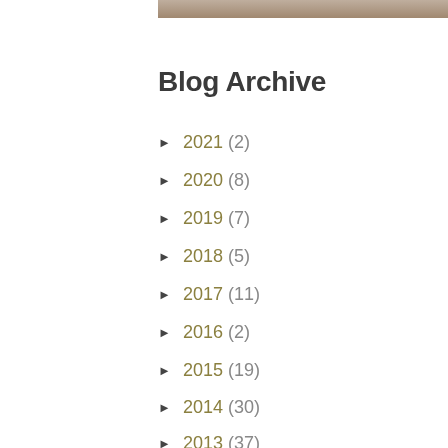[Figure (photo): Partial top image visible at the top of the page]
Blog Archive
► 2021 (2)
► 2020 (8)
► 2019 (7)
► 2018 (5)
► 2017 (11)
► 2016 (2)
► 2015 (19)
► 2014 (30)
► 2013 (37)
► 2012 (77)
▼ 2011 (62)
► December (3)
► November (7)